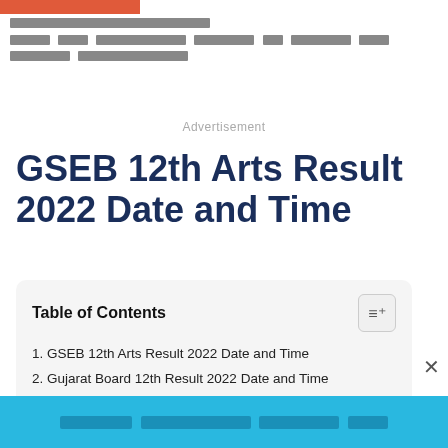[Redacted text in non-Latin script - top paragraph content]
Advertisement
GSEB 12th Arts Result 2022 Date and Time
Table of Contents
1. GSEB 12th Arts Result 2022 Date and Time
2. Gujarat Board 12th Result 2022 Date and Time
3. Gujarat Secondary and Higher Secondary Education Board (GSEB)
[Redacted bottom bar text in non-Latin script]